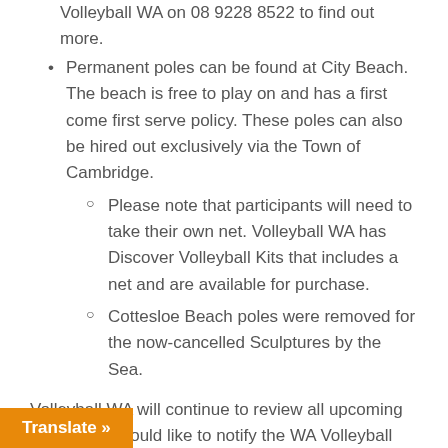Volleyball WA on 08 9228 8522 to find out more.
Permanent poles can be found at City Beach. The beach is free to play on and has a first come first serve policy. These poles can also be hired out exclusively via the Town of Cambridge.
Please note that participants will need to take their own net. Volleyball WA has Discover Volleyball Kits that includes a net and are available for purchase.
Cottesloe Beach poles were removed for the now-cancelled Sculptures by the Sea.
Volleyball WA will continue to review all upcoming events and would like to notify the WA Volleyball League clubs and players, that [...]mation around the 2020 [...] will be released next week
Translate »